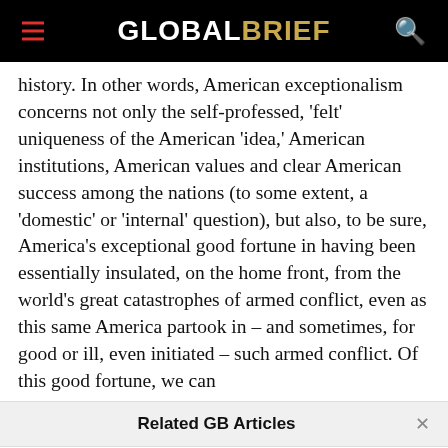GLOBALBRIEF
history. In other words, American exceptionalism concerns not only the self-professed, 'felt' uniqueness of the American 'idea,' American institutions, American values and clear American success among the nations (to some extent, a 'domestic' or 'internal' question), but also, to be sure, America's exceptional good fortune in having been essentially insulated, on the home front, from the world's great catastrophes of armed conflict, even as this same America partook in – and sometimes, for good or ill, even initiated – such armed conflict. Of this good fortune, we can
Related GB Articles
Deutschland sucht eine neue Sicherheitspolitik
[Figure (photo): Headshot of a middle-aged man with grey/blonde hair, smiling, wearing a dark suit jacket]